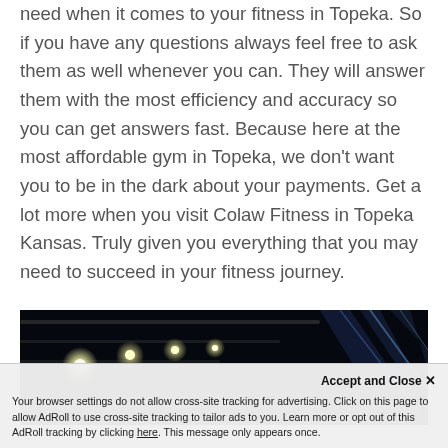need when it comes to your fitness in Topeka. So if you have any questions always feel free to ask them as well whenever you can. They will answer them with the most efficiency and accuracy so you can get answers fast. Because here at the most affordable gym in Topeka, we don't want you to be in the dark about your payments. Get a lot more when you visit Colaw Fitness in Topeka Kansas. Truly given you everything that you may need to succeed in your fitness journey.
[Figure (photo): Dark photo of gym interior ceiling with bright white lights and blue light beams]
Accept and Close ×
Your browser settings do not allow cross-site tracking for advertising. Click on this page to allow AdRoll to use cross-site tracking to tailor ads to you. Learn more or opt out of this AdRoll tracking by clicking here. This message only appears once.